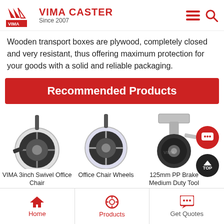VIMA CASTER Since 2007
Wooden transport boxes are plywood, completely closed and very resistant, thus offering maximum protection for your goods with a solid and reliable packaging. Compare more cost external f
Recommended Products
[Figure (photo): VIMA 3inch Swivel Office Chair caster wheel product image]
VIMA 3inch Swivel Office Chair
[Figure (photo): Office Chair Wheels caster product image]
Office Chair Wheels
[Figure (photo): 125mm PP Brake Medium Duty Tool caster product image]
125mm PP Brake Medium Duty Tool
Home | Products | Get Quotes